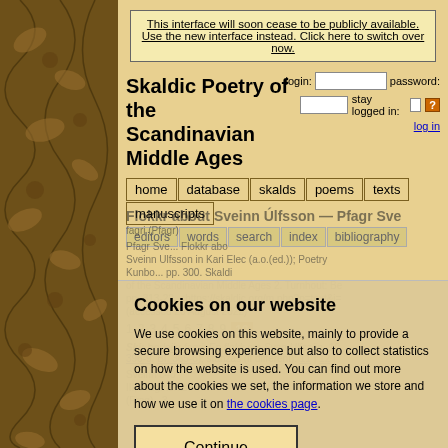This interface will soon cease to be publicly available. Use the new interface instead. Click here to switch over now.
Skaldic Poetry of the Scandinavian Middle Ages
login: [input] password: [input] stay logged in: [checkbox] [?] log in
home | database | skalds | poems | texts | manuscripts
editors | words | search | index | bibliography
Cookies on our website
We use cookies on this website, mainly to provide a secure browsing experience but also to collect statistics on how the website is used. You can find out more about the cookies we set, the information we store and how we use it on the cookies page.
Continue